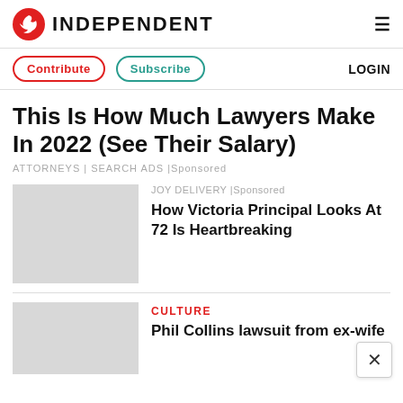INDEPENDENT
Contribute | Subscribe | LOGIN
This Is How Much Lawyers Make In 2022 (See Their Salary)
ATTORNEYS | SEARCH ADS | Sponsored
[Figure (other): Advertisement placeholder image for Joy Delivery sponsored content]
JOY DELIVERY | Sponsored
How Victoria Principal Looks At 72 Is Heartbreaking
[Figure (other): Culture section placeholder image]
CULTURE
Phil Collins lawsuit from ex-wife